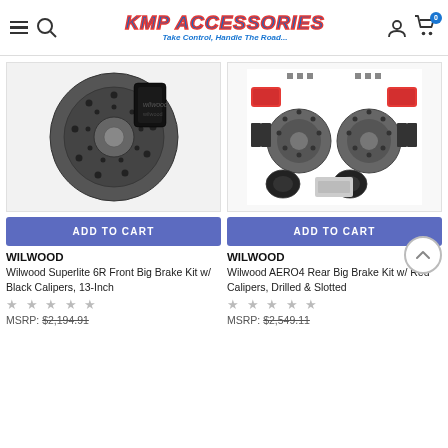KMP ACCESSORIES – Take Control, Handle The Road...
[Figure (photo): Wilwood Superlite 6R drilled brake disc with black caliper]
[Figure (photo): Wilwood AERO4 rear big brake kit with red calipers, drilled and slotted rotors, laid out on white background]
ADD TO CART
ADD TO CART
WILWOOD
WILWOOD
Wilwood Superlite 6R Front Big Brake Kit w/ Black Calipers, 13-Inch
Wilwood AERO4 Rear Big Brake Kit w/ Red Calipers, Drilled & Slotted
MSRP: $2,194.91
MSRP: $2,549.11